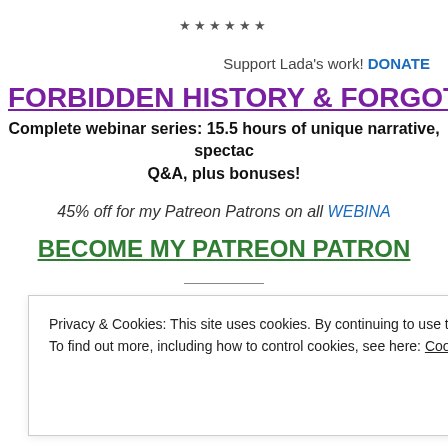******
Support Lada's work! DONATE
FORBIDDEN HISTORY & FORGOTT…
Complete webinar series: 15.5 hours of unique narrative, spectac… Q&A, plus bonuses!
45% off for my Patreon Patrons on all WEBINA…
BECOME MY PATREON PATRON…
——
Privacy & Cookies: This site uses cookies. By continuing to use this website, you agree to their use. To find out more, including how to control cookies, see here: Cookie Policy
Close and accept